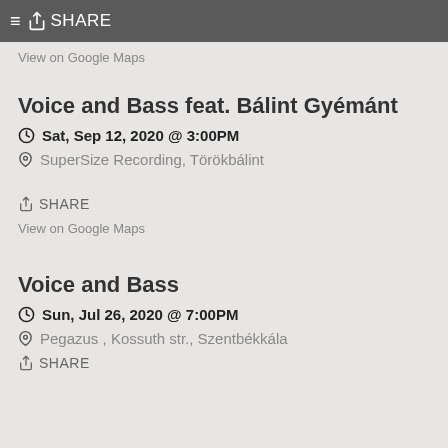≡ 🔗 SHARE
View on Google Maps
Voice and Bass feat. Bálint Gyémánt
Sat, Sep 12, 2020 @ 3:00PM
SuperSize Recording, Törökbálint
SHARE
View on Google Maps
Voice and Bass
Sun, Jul 26, 2020 @ 7:00PM
Pegazus , Kossuth str., Szentbékkála
SHARE